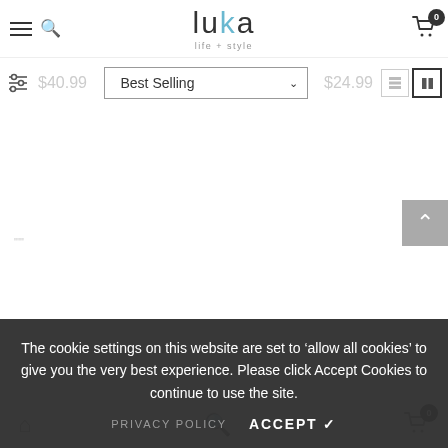luka life + style — navigation header with hamburger, search, logo, cart (0)
CHILD TO CHERISH- Princess Francesca  |  CHILD TO CHERISH- Blue Spotted Giraffe
$40.99  Best Selling  $24.99
[Figure (screenshot): E-commerce product listing page for Luka life+style with Best Selling sort dropdown, filter icon, list/grid view toggles, back-to-top button]
The cookie settings on this website are set to 'allow all cookies' to give you the very best experience. Please click Accept Cookies to continue to use the site.
PRIVACY POLICY   ACCEPT ✓